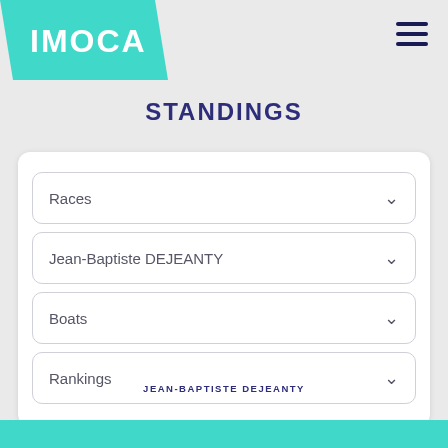[Figure (logo): IMOCA logo in teal/turquoise parallelogram shape with white bold text]
STANDINGS
Races
Jean-Baptiste DEJEANTY
Boats
Rankings
JEAN-BAPTISTE DEJEANTY